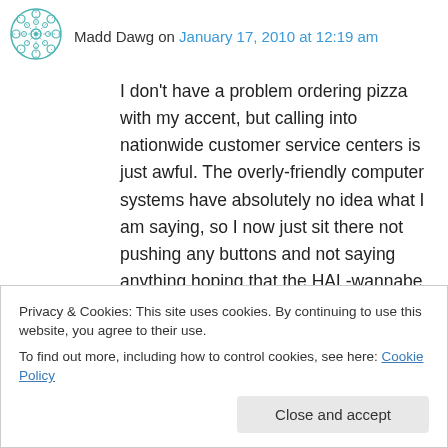Madd Dawg on January 17, 2010 at 12:19 am
I don't have a problem ordering pizza with my accent, but calling into nationwide customer service centers is just awful. The overly-friendly computer systems have absolutely no idea what I am saying, so I now just sit there not pushing any buttons and not saying anything hoping that the HAL-wannabe will eventually decide that I have a rotary phone and am a complete moron and will eventually default to getting a live
Privacy & Cookies: This site uses cookies. By continuing to use this website, you agree to their use.
To find out more, including how to control cookies, see here: Cookie Policy
Close and accept